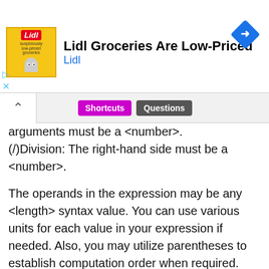[Figure (other): Lidl advertisement banner with logo, text 'Lidl Groceries Are Low-Priced', subtitle 'Lidl', and a blue diamond navigation arrow icon on the right]
[Figure (screenshot): Browser toolbar with chevron/collapse button, 'Shortcuts' pill button in magenta, and 'Questions' pill button in gray]
arguments must be a <number>. (/)Division: The right-hand side must be a <number>.
The operands in the expression may be any <length> syntax value. You can use various units for each value in your expression if needed. Also, you may utilize parentheses to establish computation order when required.
Also Refer:
Importing a CSS file using @import
The CSS Resolver Tutorial